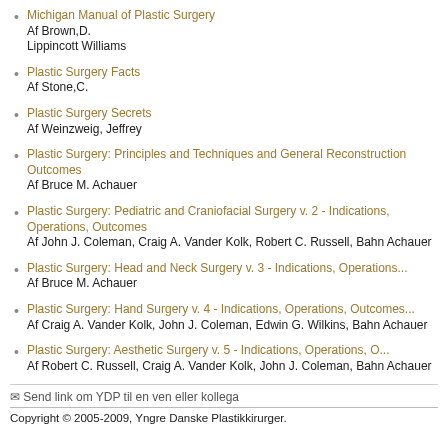Michigan Manual of Plastic Surgery
Af Brown,D.
Lippincott Williams
Plastic Surgery Facts
Af Stone,C.
Plastic Surgery Secrets
Af Weinzweig, Jeffrey
Plastic Surgery: Principles and Techniques and General Reconstruction Outcomes
Af Bruce M. Achauer
Plastic Surgery: Pediatric and Craniofacial Surgery v. 2 - Indications...
Af John J. Coleman, Craig A. Vander Kolk, Robert C. Russell, Bahn Achauer
Plastic Surgery: Head and Neck Surgery v. 3 - Indications, Operations...
Af Bruce M. Achauer
Plastic Surgery: Hand Surgery v. 4 - Indications, Operations, Outcomes...
Af Craig A. Vander Kolk, John J. Coleman, Edwin G. Wilkins, Bahn Achauer
Plastic Surgery: Aesthetic Surgery v. 5 - Indications, Operations, O...
Af Robert C. Russell, Craig A. Vander Kolk, John J. Coleman, Bahn Achauer
✉ Send link om YDP til en ven eller kollega
Copyright © 2005-2009, Yngre Danske Plastikkirurger.